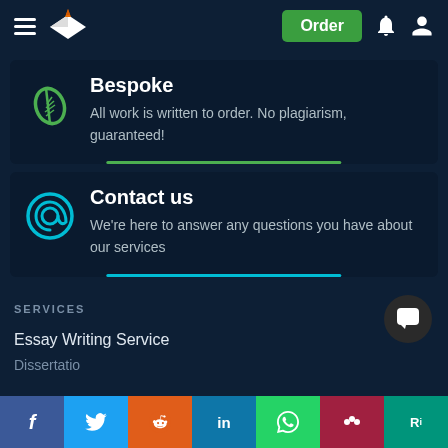Bespoke writing service website navigation with Order button, bell, and user icons
Bespoke
All work is written to order. No plagiarism, guaranteed!
Contact us
We're here to answer any questions you have about our services
SERVICES
Essay Writing Service
Dissertatio...
[Figure (infographic): Social sharing bar with Facebook, Twitter, Reddit, LinkedIn, WhatsApp, Mendeley, ResearchGate buttons]